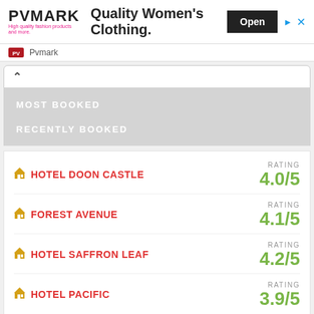[Figure (screenshot): PVMARK advertisement banner with logo, 'Quality Women's Clothing.' text, and Open button]
Pvmark
MOST BOOKED
RECENTLY BOOKED
HOTEL DOON CASTLE — RATING 4.0/5
FOREST AVENUE — RATING 4.1/5
HOTEL SAFFRON LEAF — RATING 4.2/5
HOTEL PACIFIC — RATING 3.9/5